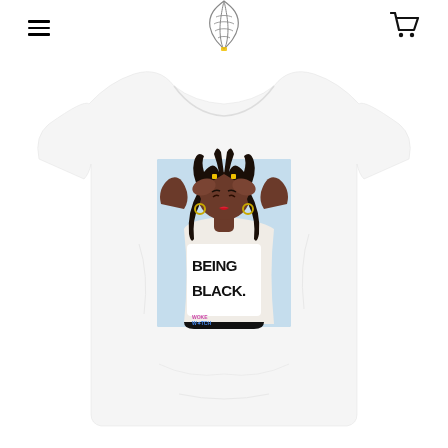Navigation header with hamburger menu, logo, and cart icon
[Figure (photo): White t-shirt product photo featuring an illustration of a Black woman with hands on her head, wearing a white shirt that reads 'BEING BLACK.' The background of the illustration is light blue. The t-shirt is displayed on a white background.]